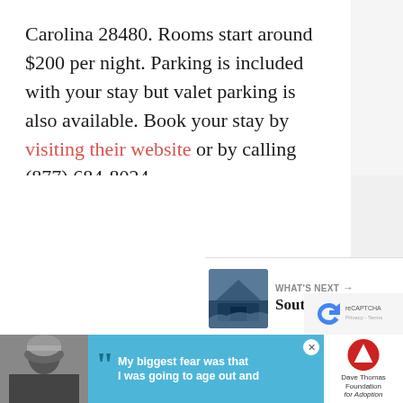Carolina 28480. Rooms start around $200 per night. Parking is included with your stay but valet parking is also available. Book your stay by visiting their website or by calling (877) 684-8024.
[Figure (screenshot): Social media UI: heart/like button (teal circle with heart icon), count of 3, share button (white circle with share icon)]
[Figure (screenshot): What's Next panel showing a thumbnail image of a building/lodge with text 'WHAT'S NEXT → Southern Stays:...']
[Figure (screenshot): Advertisement banner: photo of person in beanie, blue background with quote marks and text 'My biggest fear was that I was going to age out and', Dave Thomas Foundation for Adoption logo, close button X]